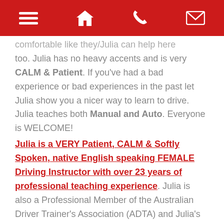[navigation bar with menu, home, phone, and email icons]
comfortable like they/Julia can help here too. Julia has no heavy accents and is very CALM & Patient. If you've had a bad experience or bad experiences in the past let Julia show you a nicer way to learn to drive. Julia teaches both Manual and Auto. Everyone is WELCOME!
Julia is a VERY Patient, CALM & Softly Spoken, native English speaking FEMALE Driving Instructor with over 23 years of professional teaching experience. Julia is also a Professional Member of the Australian Driver Trainer's Association (ADTA) and Julia's car (Automatic Toyota Corolla hatchback)